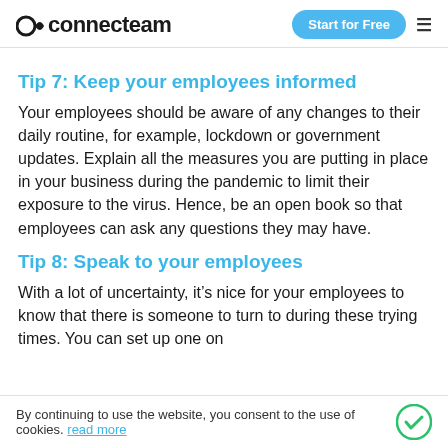connecteam | Start for Free
Tip 7: Keep your employees informed
Your employees should be aware of any changes to their daily routine, for example, lockdown or government updates. Explain all the measures you are putting in place in your business during the pandemic to limit their exposure to the virus. Hence, be an open book so that employees can ask any questions they may have.
Tip 8: Speak to your employees
With a lot of uncertainty, it’s nice for your employees to know that there is someone to turn to during these trying times. You can set up one on
By continuing to use the website, you consent to the use of cookies. read more